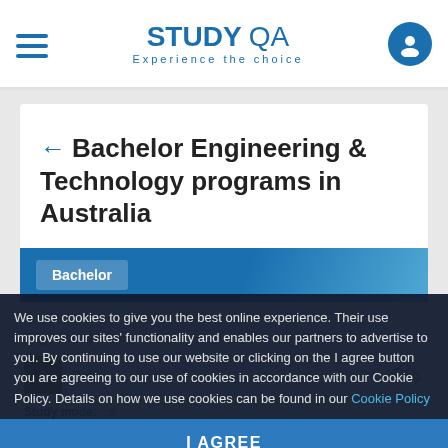STUDY QA — Experience the choice
← Bachelor Engineering & Technology programs in Australia
Bachelor
Engineering Science
Perth, ...  0
Study mode:
We use cookies to give you the best online experience. Their use improves our sites' functionality and enables our partners to advertise to you. By continuing to use our website or clicking on the I agree button you are agreeing to our use of cookies in accordance with our Cookie Policy. Details on how we use cookies can be found in our Cookie Policy
I AGREE